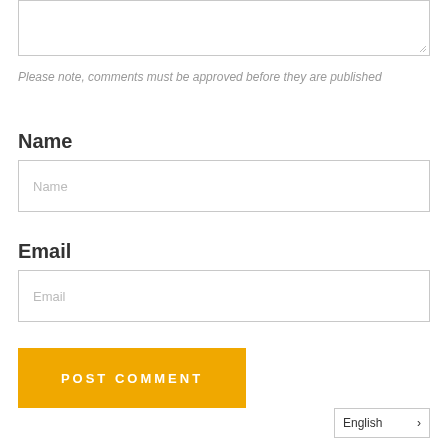[Figure (screenshot): Text area input box (empty) with resize handle at bottom right]
Please note, comments must be approved before they are published
Name
[Figure (screenshot): Name text input field with placeholder text 'Name']
Email
[Figure (screenshot): Email text input field with placeholder text 'Email']
[Figure (screenshot): POST COMMENT button in orange/yellow color]
English >